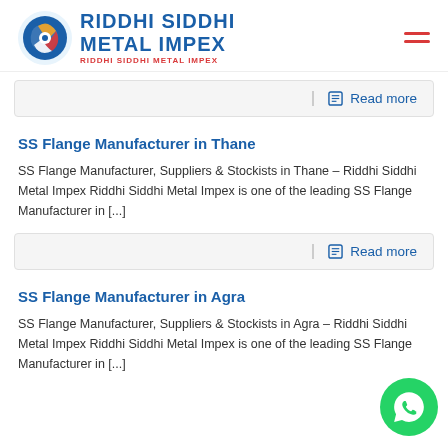Riddhi Siddhi Metal Impex
Read more
SS Flange Manufacturer in Thane
SS Flange Manufacturer, Suppliers & Stockists in Thane – Riddhi Siddhi Metal Impex Riddhi Siddhi Metal Impex is one of the leading SS Flange Manufacturer in [...]
Read more
SS Flange Manufacturer in Agra
SS Flange Manufacturer, Suppliers & Stockists in Agra – Riddhi Siddhi Metal Impex Riddhi Siddhi Metal Impex is one of the leading SS Flange Manufacturer in [...]